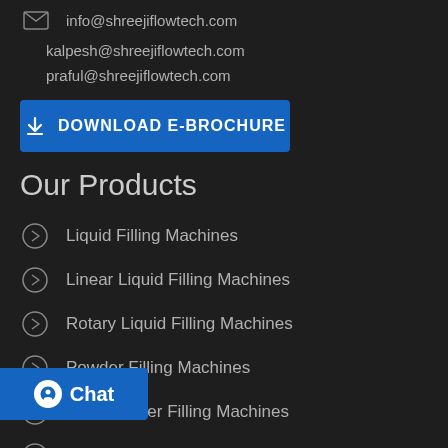info@shreejiflowtech.com
kalpesh@shreejiflowtech.com
praful@shreejiflowtech.com
DOWNLOAD E-BROCHURE
Our Products
Liquid Filling Machines
Linear Liquid Filling Machines
Rotary Liquid Filling Machines
Powder Filling Machines
Linear Auger Filling Machines
...ler Filling Machines
Leaflet Pasting Machines